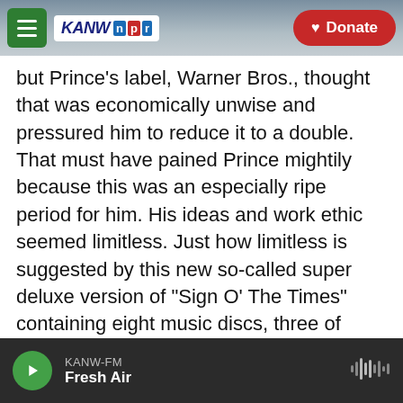KANW NPR — Donate
but Prince's label, Warner Bros., thought that was economically unwise and pressured him to reduce it to a double. That must have pained Prince mightily because this was an especially ripe period for him. His ideas and work ethic seemed limitless. Just how limitless is suggested by this new so-called super deluxe version of "Sign O' The Times" containing eight music discs, three of which are previously unreleased songs.
(SOUNDBITE OF SONG, "EGGPLANT")
PRINCE: (Singing) That kind of girl's no good for you. She flips her hair and thinks she's cool, giggles
KANW-FM — Fresh Air